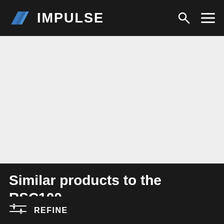IMPULSE
[Figure (other): Light grey placeholder content area]
Similar products to the RSC100
REFINE